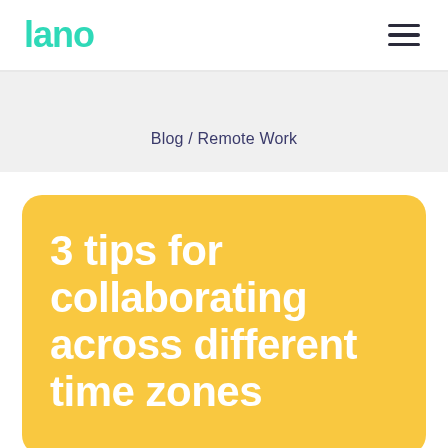lano
Blog / Remote Work
3 tips for collaborating across different time zones